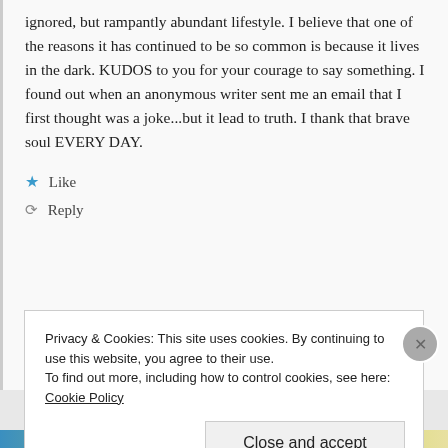ignored, but rampantly abundant lifestyle. I believe that one of the reasons it has continued to be so common is because it lives in the dark. KUDOS to you for your courage to say something. I found out when an anonymous writer sent me an email that I first thought was a joke...but it lead to truth. I thank that brave soul EVERY DAY.
★ Like
↺ Reply
Privacy & Cookies: This site uses cookies. By continuing to use this website, you agree to their use.
To find out more, including how to control cookies, see here: Cookie Policy
Close and accept